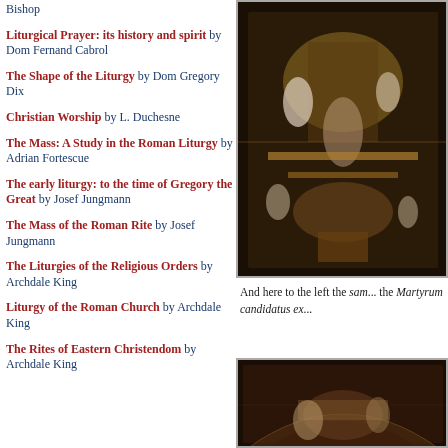Bishop
Liturgical Prayer: its history and spirit by Dom Fernand Cabrol
The Shape of the Liturgy by Dom Gregory Dix
Christian Worship by L. Duchesne
The Mass: A Study in the Roman Liturgy by Adrian Fortescue
The early liturgy: to the time of Gregory the Great by Josef Jungmann
The Mass of the Roman Rite by Josef Jungmann
The Liturgies of the Religious Orders by Archdale King
Liturgy of the Roman Church by Archdale King
The Rites of Eastern Christendom by Archdale King
[Figure (photo): Ornate baroque church reliquary or altar piece with gilded figures and sculptural elements]
And here to the left the sam... the Martyrum candidatus ex...
[Figure (photo): Close-up of baroque church decorative sculpture or relic display]